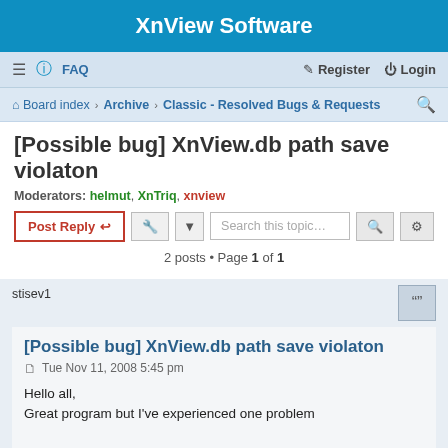XnView Software
≡  FAQ   Register  Login
Board index › Archive › Classic - Resolved Bugs & Requests
[Possible bug] XnView.db path save violaton
Moderators: helmut, XnTriq, xnview
Post Reply   Tools   Search this topic…   2 posts • Page 1 of 1
stisev1
[Possible bug] XnView.db path save violaton
Tue Nov 11, 2008 5:45 pm
Hello all,
Great program but I've experienced one problem

XnView.db does NOT save within the XNView directory. Yes, I've made all of the appropriate setting changes, searched, googled, etc.

It still saves: C:\Documents and Settings\STi Sev\Application